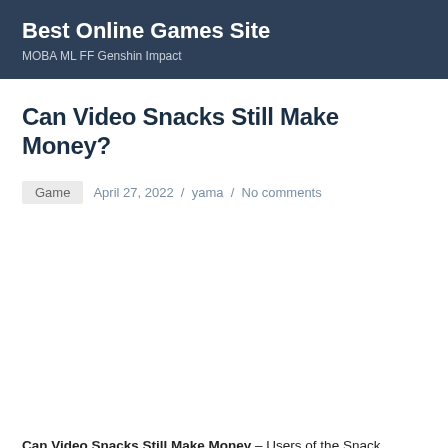Best Online Games Site
MOBA ML FF Genshin Impact
Can Video Snacks Still Make Money?
Game   April 27, 2022  /  yama  /  No comments
Can Video Snacks Still Make Money – Users of the Snack